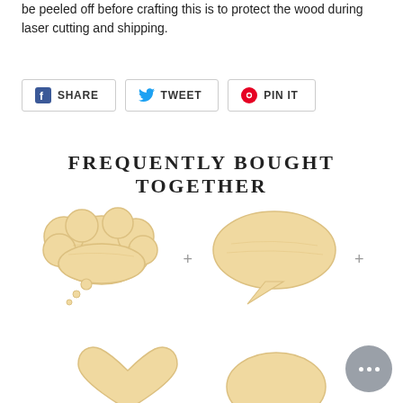be peeled off before crafting this is to protect the wood during laser cutting and shipping.
[Figure (screenshot): Social share buttons: Facebook SHARE, Twitter TWEET, Pinterest PIN IT]
FREQUENTLY BOUGHT TOGETHER
[Figure (photo): Wooden thought bubble speech balloon cutout shape]
[Figure (photo): Wooden oval speech bubble cutout shape]
[Figure (photo): Wooden heart shape cutout (partially visible at bottom)]
[Figure (photo): Wooden oval shape (partially visible at bottom right)]